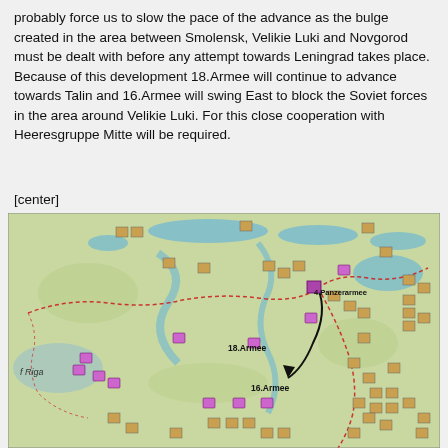probably force us to slow the pace of the advance as the bulge created in the area between Smolensk, Velikie Luki and Novgorod must be dealt with before any attempt towards Leningrad takes place. Because of this development 18.Armee will continue to advance towards Talin and 16.Armee will swing East to block the Soviet forces in the area around Velikie Luki. For this close cooperation with Heeresgruppe Mitte will be required.
[center]
[Figure (map): Military strategy map showing Eastern Front positions near Smolensk, Velikie Luki, Novgorod and Riga areas. Shows 18.Armee, 16.Armee, and 4.Panzerarmee positions with red dotted lines indicating front lines and black arrow showing movement direction. Map has teal/green terrain with blue water features and numerous military unit symbols in brown and purple.]